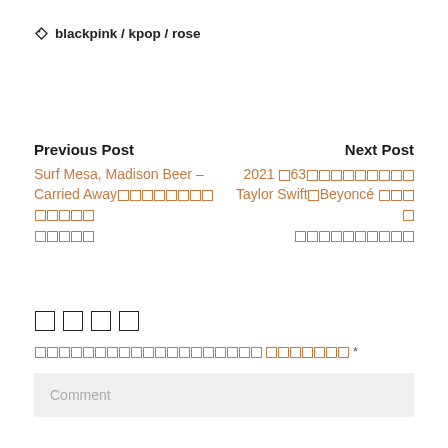blackpink / kpop / rose
Previous Post
Next Post
Surf Mesa, Madison Beer – Carried Away[tofu characters]
2021 [tofu]63[tofu characters] Taylor Swift[tofu]Beyoncé [tofu characters]
[tofu characters - comment heading]
[tofu characters] *
Comment